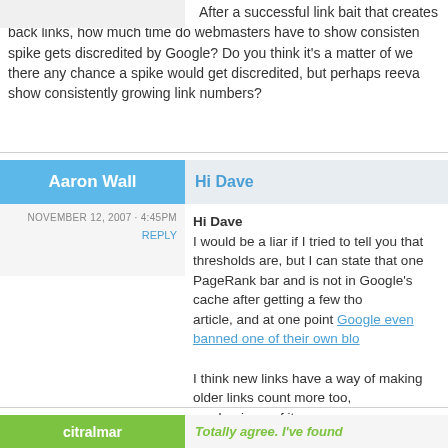After a successful link bait that creates back links, how much time do webmasters have to show consistently before the spike gets discredited by Google? Do you think it's a matter of weeks? Is there any chance a spike would get discredited, but perhaps reevaluated if they show consistently growing link numbers?
Aaron Wall
Hi Dave
NOVEMBER 12, 2007 - 4:45PM
REPLY
Hi Dave
I would be a liar if I tried to tell you that thresholds are, but I can state that one PageRank bar and is not in Google's cache after getting a few tho article, and at one point Google even banned one of their own blo

I think new links have a way of making older links count more too, mechanisms of it.
citralmar
Totally agree. I've found